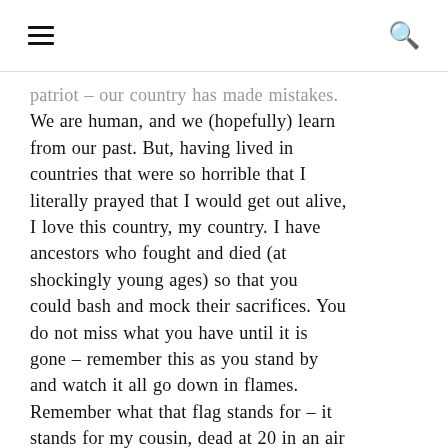[hamburger menu] [search icon]
patriot – our country has made mistakes. We are human, and we (hopefully) learn from our past. But, having lived in countries that were so horrible that I literally prayed that I would get out alive, I love this country, my country. I have ancestors who fought and died (at shockingly young ages) so that you could bash and mock their sacrifices. You do not miss what you have until it is gone – remember this as you stand by and watch it all go down in flames. Remember what that flag stands for – it stands for my cousin, dead at 20 in an air crash training to go and fight the Nazis. It stands for my father, an Army Ranger who, with help from incredibly brave Filipinos, helped liberate his comrades at Cabanatuan. It stands for untold other